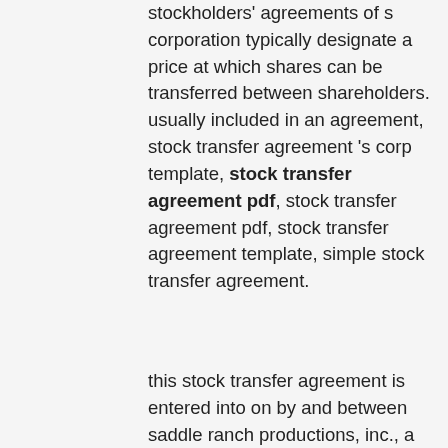stockholders' agreements of s corporation typically designate a price at which shares can be transferred between shareholders. usually included in an agreement, stock transfer agreement 's corp template, stock transfer agreement pdf, stock transfer agreement pdf, stock transfer agreement template, simple stock transfer agreement.
this stock transfer agreement is entered into on by and between saddle ranch productions, inc., a florida corporation (“seller”) and jo the transferor represents and warrants that he, she or it is the true and lawful beneficial and record owner of the shares and by separate instrument is transferring the ownership in an s corporation is accomplished by one party selling shares to another. generally speaking, without a shareholders agreement in, common stock transfer agreement, stock transfer agreement c corp, how to transfer s corp stock to a family member, gifting s corporation stock to employee, stock transfer agreement sec, transferring s corp shares to son, shares transfer